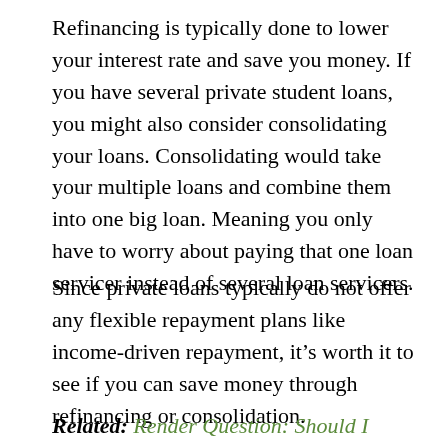Refinancing is typically done to lower your interest rate and save you money. If you have several private student loans, you might also consider consolidating your loans. Consolidating would take your multiple loans and combine them into one big loan. Meaning you only have to worry about paying that one loan servicer instead of several loan servicers.
Since private loans typically do not offer any flexible repayment plans like income-driven repayment, it's worth it to see if you can save money through refinancing or consolidation.
Related: Render Question: Should I...